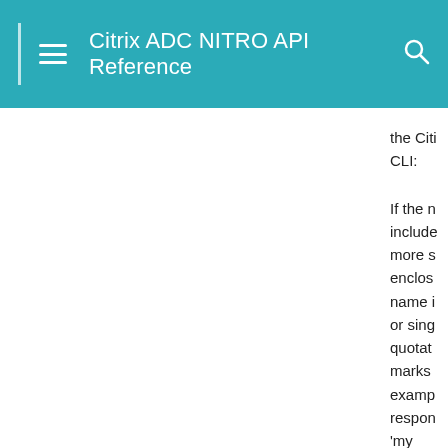Citrix ADC NITRO API Reference
the Citrix CLI:
If the name includes one or more spaces, enclose the name in double or single quotation marks (for example, 'my response policy').
Minimum value = 1